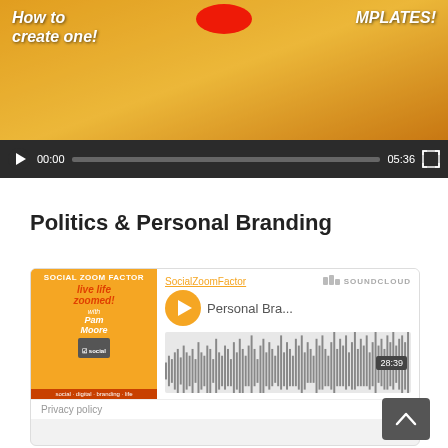[Figure (screenshot): Video player showing a thumbnail with a woman on an orange/yellow background with text 'How to create one!' and 'MPLATES!'. Video controls show 00:00 timecode and 05:36 duration.]
Politics & Personal Branding
[Figure (screenshot): SoundCloud embedded audio player for SocialZoomFactor - Personal Branding and Politics. Shows podcast artwork, orange play button, waveform visualization with 28:39 duration.]
SocialZoomFactor - Personal Branding and Politics - Building Your Brand in a Politica...